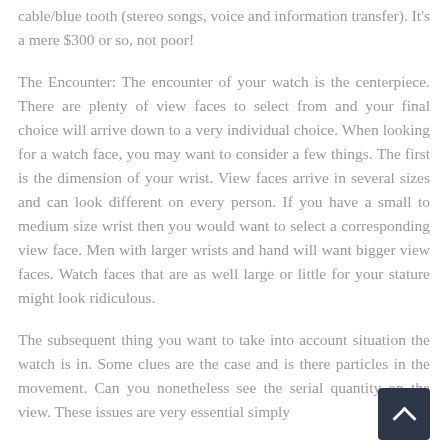cable/blue tooth (stereo songs, voice and information transfer). It's a mere $300 or so, not poor!
The Encounter: The encounter of your watch is the centerpiece. There are plenty of view faces to select from and your final choice will arrive down to a very individual choice. When looking for a watch face, you may want to consider a few things. The first is the dimension of your wrist. View faces arrive in several sizes and can look different on every person. If you have a small to medium size wrist then you would want to select a corresponding view face. Men with larger wrists and hand will want bigger view faces. Watch faces that are as well large or little for your stature might look ridiculous.
The subsequent thing you want to take into account situation the watch is in. Some clues are the case and is there particles in the movement. Can you nonetheless see the serial quantity on the view. These issues are very essential simply